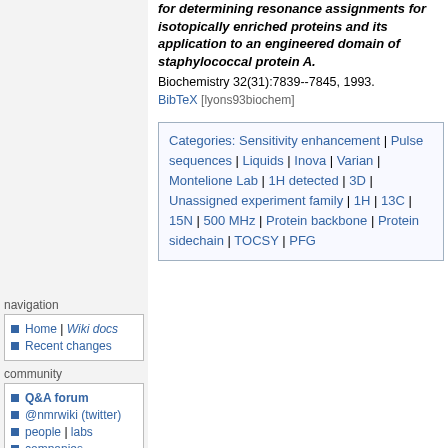for determining resonance assignments for isotopically enriched proteins and its application to an engineered domain of staphylococcal protein A. Biochemistry 32(31):7839--7845, 1993. BibTeX [lyons93biochem]
Categories: Sensitivity enhancement | Pulse sequences | Liquids | Inova | Varian | Montelione Lab | 1H detected | 3D | Unassigned experiment family | 1H | 13C | 15N | 500 MHz | Protein backbone | Protein sidechain | TOCSY | PFG
navigation
Home | Wiki docs
Recent changes
community
Q&A forum
@nmrwiki (twitter)
people | labs
companies